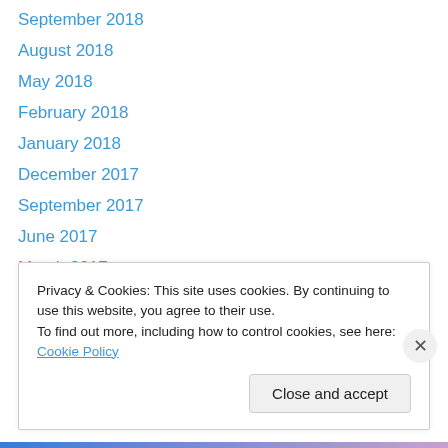September 2018
August 2018
May 2018
February 2018
January 2018
December 2017
September 2017
June 2017
March 2017
February 2017
December 2016
September 2016
August 2016
Privacy & Cookies: This site uses cookies. By continuing to use this website, you agree to their use.
To find out more, including how to control cookies, see here: Cookie Policy
Close and accept